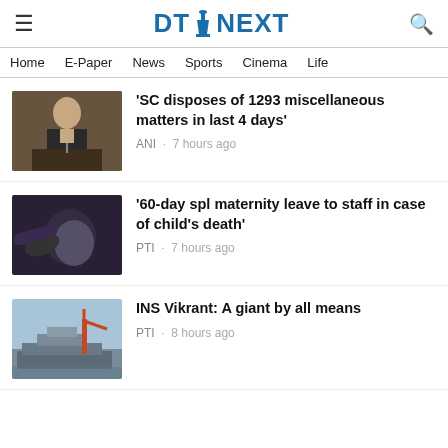DT NEXT
Home · E-Paper · News · Sports · Cinema · Life
[Figure (photo): Man in suit at podium]
'SC disposes of 1293 miscellaneous matters in last 4 days'
ANI · 7 hours ago
[Figure (photo): Pregnant woman holding belly]
'60-day spl maternity leave to staff in case of child's death'
PTI · 7 hours ago
[Figure (photo): INS Vikrant ship at port with crane]
INS Vikrant: A giant by all means
PTI · 8 hours ago